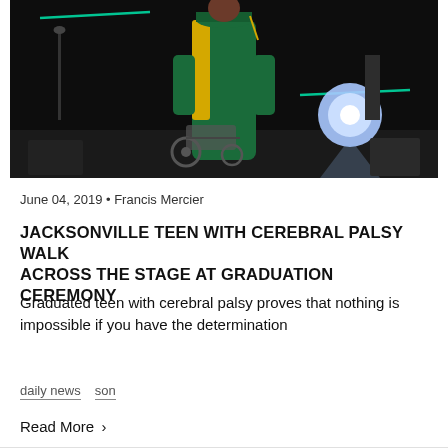[Figure (photo): A person in a green and yellow graduation gown standing near a wheelchair on a dark stage with a bright spotlight in the background]
June 04, 2019 • Francis Mercier
JACKSONVILLE TEEN WITH CEREBRAL PALSY WALK ACROSS THE STAGE AT GRADUATION CEREMONY
Graduated teen with cerebral palsy proves that nothing is impossible if you have the determination
daily news
son
Read More >